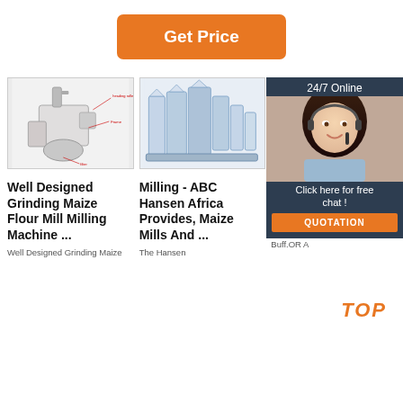[Figure (other): Orange 'Get Price' button]
[Figure (photo): Industrial grinding maize flour mill milling machine with labels]
[Figure (photo): Industrial milling ABC Hansen Africa maize mill equipment]
[Figure (photo): 24/7 Online customer service representative with headset, with 'Click here for free chat!' overlay and QUOTATION button]
Well Designed Grinding Maize Flour Mill Milling Machine ...
Well Designed Grinding Maize
Milling - ABC Hansen Africa Provides, Maize Mills And ...
The Hansen
S M P SUPERIOR EXTRACTION
2021-10-27u2002·u2002In Buff.OR A
TOP